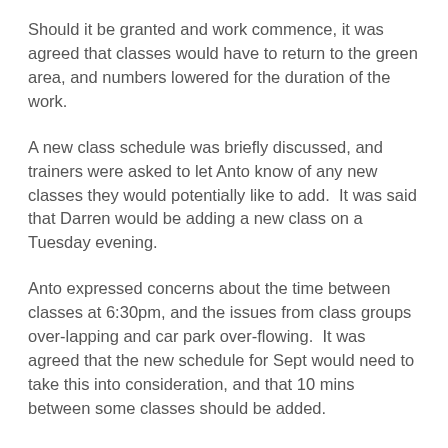Should it be granted and work commence, it was agreed that classes would have to return to the green area, and numbers lowered for the duration of the work.
A new class schedule was briefly discussed, and trainers were asked to let Anto know of any new classes they would potentially like to add.  It was said that Darren would be adding a new class on a Tuesday evening.
Anto expressed concerns about the time between classes at 6:30pm, and the issues from class groups over-lapping and car park over-flowing.  It was agreed that the new schedule for Sept would need to take this into consideration, and that 10 mins between some classes should be added.
Trainers were made aware that the car park should be getting resurfaced on Saturday.  It was expressed that it is absolutely essential that all trainers park in the back car park every evening,